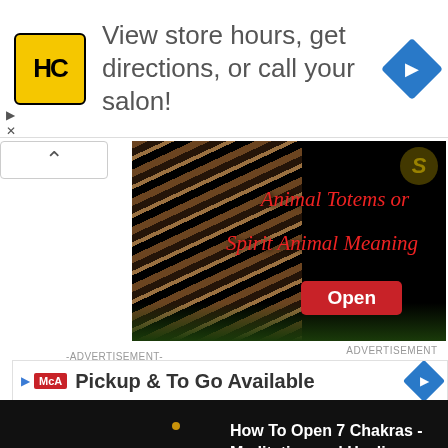[Figure (screenshot): Advertisement banner with HC logo and text 'View store hours, get directions, or call your salon!' with blue navigation arrow]
[Figure (screenshot): Animal Totems / Spirit Animal Meaning banner with tiger image and red cursive text, red Open button, dark background]
ADVERTISEMENT
-ADVERTISEMENT-
[Figure (screenshot): Pickup & To Go Available ad strip with MCA badge and blue navigation arrow]
[Figure (screenshot): Dark video overlay showing 'How To Open 7 Chakras - Meditation and Healing - SunSigns.Org']
When you finish a specific assignment, angels encourage you to
[Figure (screenshot): Bottom ad strip with Dine-in and Curbside pickup options and blue navigation arrow]